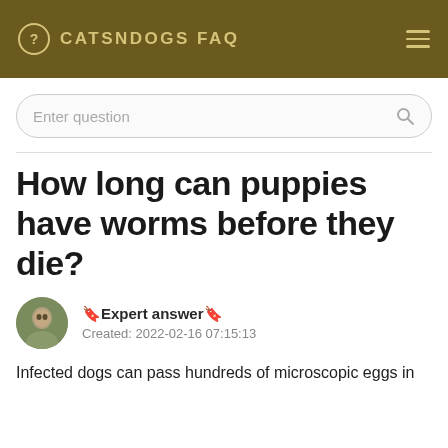CATSNDOGS FAQ
Enter question
How long can puppies have worms before they die?
🔖Expert answer🔖
Created: 2022-02-16 07:15:13
Infected dogs can pass hundreds of microscopic eggs in